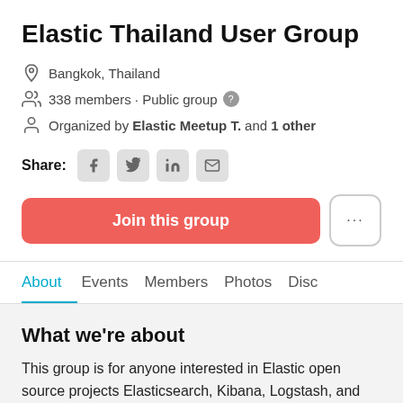Elastic Thailand User Group
Bangkok, Thailand
338 members · Public group
Organized by Elastic Meetup T. and 1 other
Share:
Join this group
About
Events
Members
Photos
Disc
What we're about
This group is for anyone interested in Elastic open source projects Elasticsearch, Kibana, Logstash, and Beats (www.elastic.co/products). We are a...